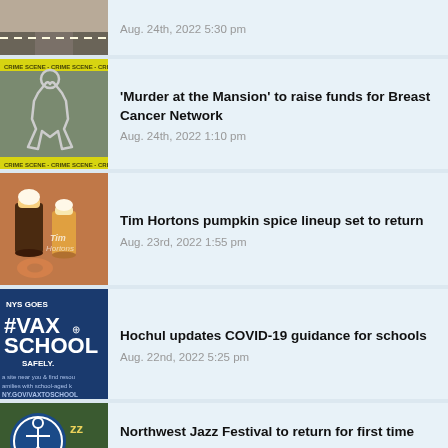Aug. 24th, 2022 5:30 pm
'Murder at the Mansion' to raise funds for Breast Cancer Network
Aug. 24th, 2022 1:10 pm
Tim Hortons pumpkin spice lineup set to return
Aug. 23rd, 2022 1:55 pm
Hochul updates COVID-19 guidance for schools
Aug. 22nd, 2022 5:25 pm
Northwest Jazz Festival to return for first time